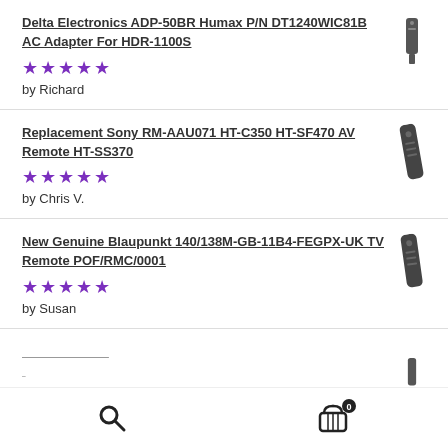Delta Electronics ADP-50BR Humax P/N DT1240WIC81B AC Adapter For HDR-1100S — 5 stars — by Richard
Replacement Sony RM-AAU071 HT-C350 HT-SF470 AV Remote HT-SS370 — 5 stars — by Chris V.
New Genuine Blaupunkt 140/138M-GB-11B4-FEGPX-UK TV Remote POF/RMC/0001 — 5 stars — by Susan
(partial item cut off at bottom)
Search | Cart (0)